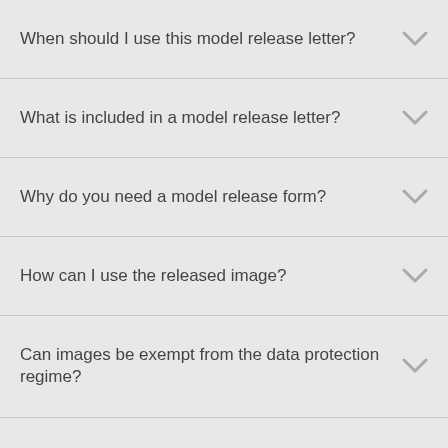When should I use this model release letter?
What is included in a model release letter?
Why do you need a model release form?
How can I use the released image?
Can images be exempt from the data protection regime?